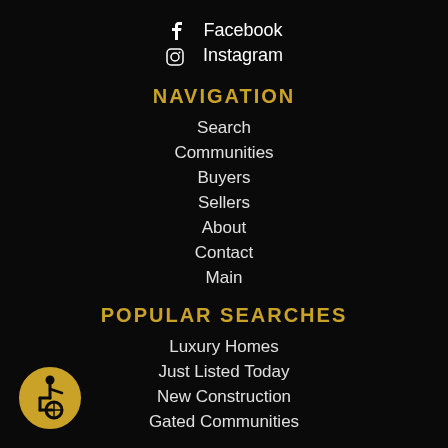Facebook
Instagram
NAVIGATION
Search
Communities
Buyers
Sellers
About
Contact
Main
POPULAR SEARCHES
Luxury Homes
Just Listed Today
New Construction
Gated Communities
[Figure (illustration): Accessibility icon — yellow circle with wheelchair user symbol]